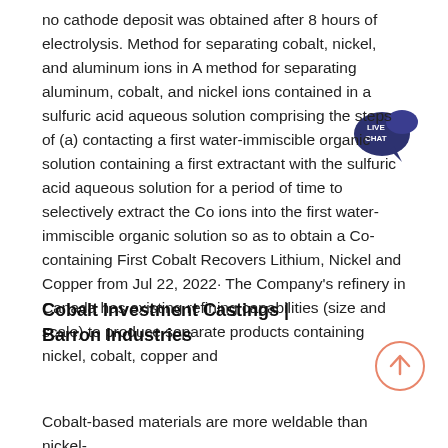no cathode deposit was obtained after 8 hours of electrolysis. Method for separating cobalt, nickel, and aluminum ions in A method for separating aluminum, cobalt, and nickel ions contained in a sulfuric acid aqueous solution comprising the steps of (a) contacting a first water-immiscible organic solution containing a first extractant with the sulfuric acid aqueous solution for a period of time to selectively extract the Co ions into the first water-immiscible organic solution so as to obtain a Co-containing First Cobalt Recovers Lithium, Nickel and Copper from Jul 22, 2022· The Company's refinery in Canada has existing refining capabilities (size and scale) to produce separate products containing nickel, cobalt, copper and
[Figure (other): Live Chat badge — dark blue speech bubble with 'LIVE CHAT' text in white]
[Figure (other): Scroll-up circular button with upward arrow, outlined in salmon/orange color]
Cobalt Investment Castings | Barron Industries
Cobalt-based materials are more weldable than nickel-